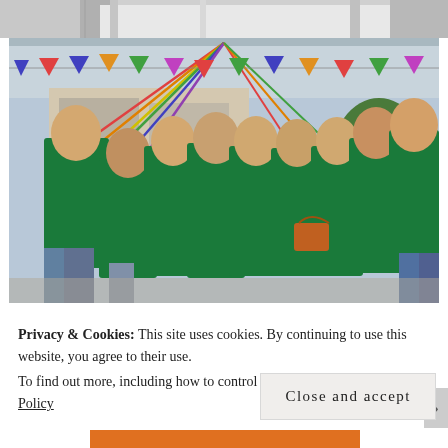[Figure (photo): Partial view of people in grey/white clothing, cropped at top of page]
[Figure (photo): Group photo of approximately 9 young people wearing matching green t-shirts at an outdoor event decorated with colorful bunting and streamers. They are smiling and making peace signs.]
Privacy & Cookies: This site uses cookies. By continuing to use this website, you agree to their use.
To find out more, including how to control cookies, see here: Cookie Policy
Close and accept